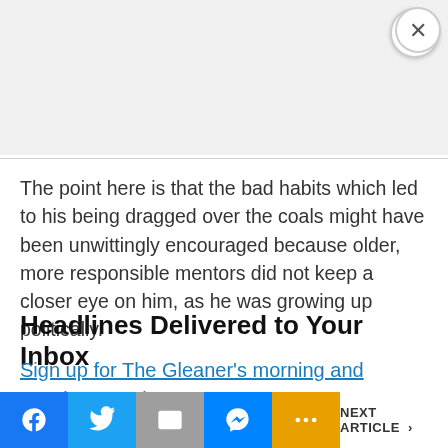[Figure (other): Gray advertisement banner placeholder area with a white circular close (X) button in the top-right corner]
The point here is that the bad habits which led to his being dragged over the coals might have been unwittingly encouraged because older, more responsible mentors did not keep a closer eye on him, as he was growing up politically.
Headlines Delivered to Your Inbox
Sign up for The Gleaner’s morning and evening newsletters.
NEXT ARTICLE >